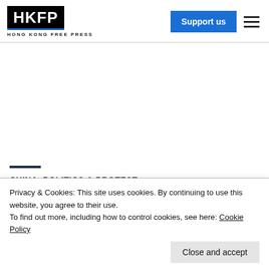HKFP HONG KONG FREE PRESS
CHINA, POLITICS & PROTEST
Privacy & Cookies: This site uses cookies. By continuing to use this website, you agree to their use.
To find out more, including how to control cookies, see here: Cookie Policy
Close and accept